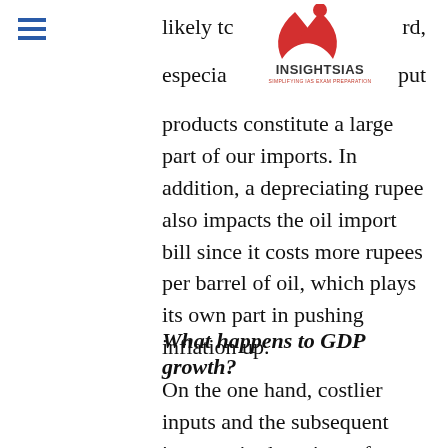likely to … rd, especially … put
[Figure (logo): InsightsIAS logo with red bird/book icon and text INSIGHTSIAS SIMPLIFYING IAS EXAM PREPARATION]
products constitute a large part of our imports. In addition, a depreciating rupee also impacts the oil import bill since it costs more rupees per barrel of oil, which plays its own part in pushing inflation up.
What happens to GDP growth?
On the one hand, costlier inputs and the subsequent increase in the prices of